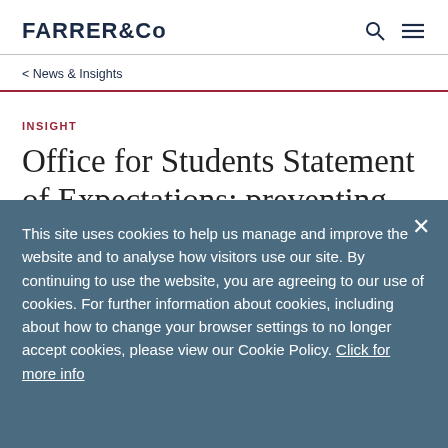FARRER & Co
< News & Insights
INSIGHT
Office for Students Statement of Expectations: preventing and
This site uses cookies to help us manage and improve the website and to analyse how visitors use our site. By continuing to use the website, you are agreeing to our use of cookies. For further information about cookies, including about how to change your browser settings to no longer accept cookies, please view our Cookie Policy. Click for more info